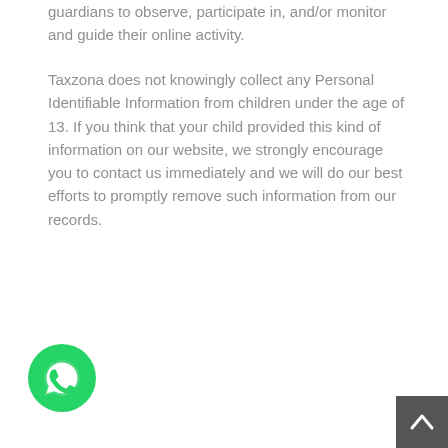guardians to observe, participate in, and/or monitor and guide their online activity.
Taxzona does not knowingly collect any Personal Identifiable Information from children under the age of 13. If you think that your child provided this kind of information on our website, we strongly encourage you to contact us immediately and we will do our best efforts to promptly remove such information from our records.
[Figure (logo): WhatsApp chat button icon — green circle with white phone/chat bubble symbol]
[Figure (other): Scroll to top button — dark grey square with upward chevron arrow]